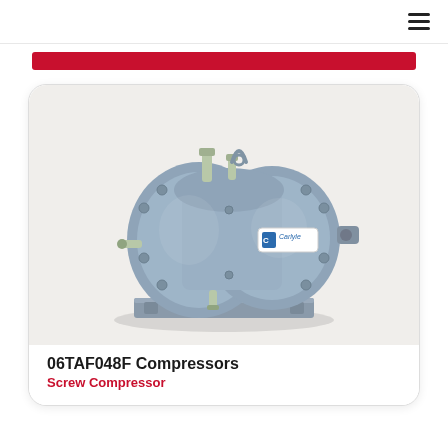≡
[Figure (photo): A grey Carlyle brand screw compressor (model 06TAF048F) photographed on a white/light grey background. The compressor has multiple ports, bolts, fittings, and a blue Carlyle logo label on its side. It sits on a grey mounting base plate.]
06TAF048F Compressors
Screw Compressor